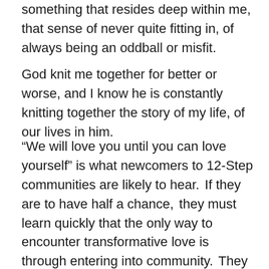something that resides deep within me, that sense of never quite fitting in, of always being an oddball or misfit.
God knit me together for better or worse, and I know he is constantly knitting together the story of my life, of our lives in him.
“We will love you until you can love yourself” is what newcomers to 12-Step communities are likely to hear.  If they are to have half a chance,  they must learn quickly that the only way to encounter transformative love is through entering into community.  They must become willing to be vulnerable enough to admit “I need help.”
No matter who we are or where we come from, we all need a place where we can relax and feel safe. Each Sunday, when our “church without walls” community